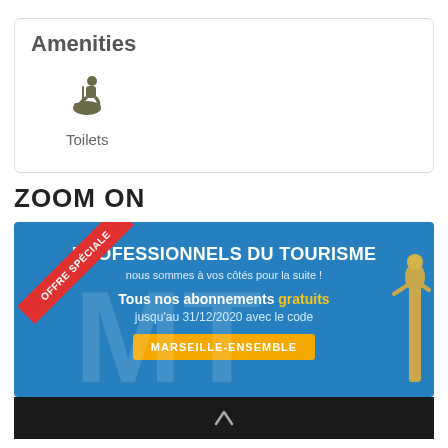Amenities
[Figure (illustration): Icon of a person sitting on a toilet (amenities icon)]
Toilets
ZOOM ON
[Figure (infographic): Advertisement banner with red ribbon saying 'OFFRE SPECIALE', blue background, text: PROFESSIONNELS DU TOURISME - nous sommes à vos côtés pour la suite! - Tous nos abonnements gratuits jusqu'au 31/12/2020 avec le code - MARSEILLE-ENSEMBLE button. Statue visible on right side.]